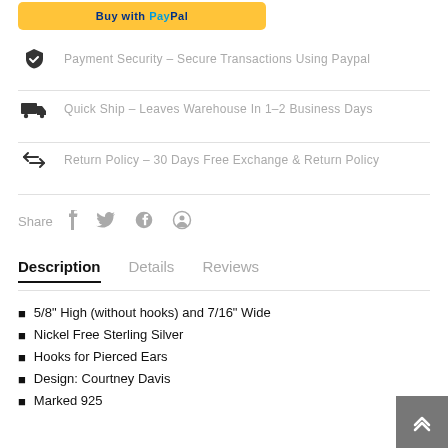[Figure (other): PayPal Buy button with yellow background]
Payment Security – Secure Transactions Using Paypal
Quick Ship – Leaves Warehouse In 1–2 Business Days
Return Policy – 30 Days Free Exchange & Return Policy
Share
Description
Details
Reviews
5/8" High (without hooks) and 7/16" Wide
Nickel Free Sterling Silver
Hooks for Pierced Ears
Design: Courtney Davis
Marked 925